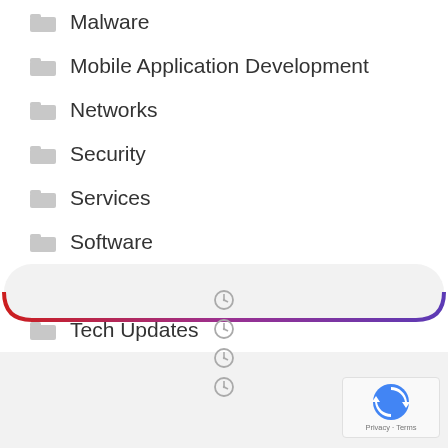Malware
Mobile Application Development
Networks
Security
Services
Software
Tech
Tech Updates
[Figure (other): Rounded rectangle widget border with gradient from red to purple at bottom]
[Figure (other): Four clock/time icons stacked vertically]
[Figure (other): reCAPTCHA badge with Privacy and Terms text]